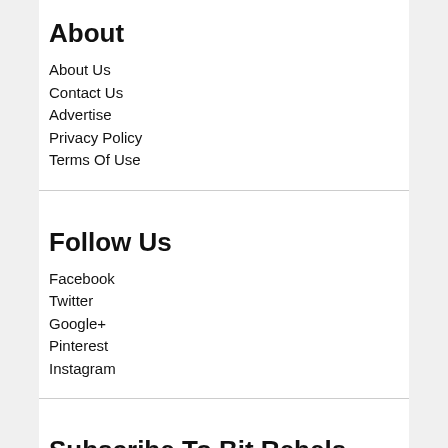About
About Us
Contact Us
Advertise
Privacy Policy
Terms Of Use
Follow Us
Facebook
Twitter
Google+
Pinterest
Instagram
Subscribe To Bit Rebels